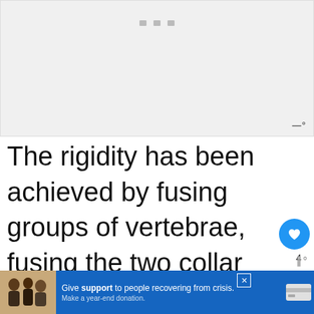[Figure (screenshot): Video/media placeholder with loading dots and wordmark watermark in top-right]
The rigidity has been achieved by fusing groups of vertebrae, fusing the two collar bones to make what we call the ‘wishbone’. And by the addition
[Figure (screenshot): Bottom advertisement bar: charity donation ad with photo, close button, and site wordmark]
[Figure (screenshot): What's Next panel: Bat Anatomy 101: The... with skeleton icon]